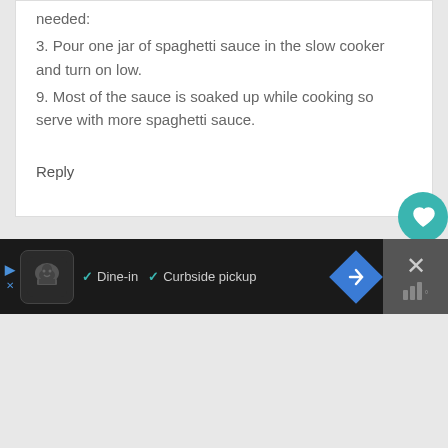needed:
3. Pour one jar of spaghetti sauce in the slow cooker and turn on low.
9. Most of the sauce is soaked up while cooking so serve with more spaghetti sauce.
Reply
Monica says
December 5, 2013 at 11:55 am